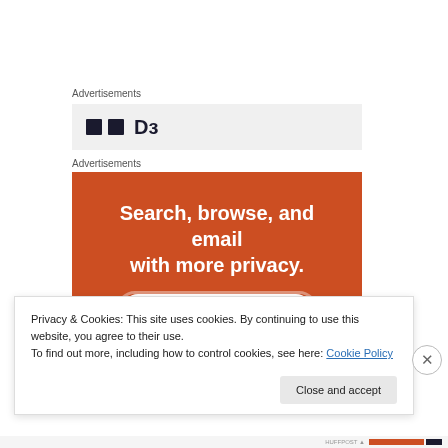Advertisements
[Figure (logo): Advertisement box with dark square icon and letter D logo on grey background]
Advertisements
[Figure (infographic): Orange advertisement banner: 'Search, browse, and email with more privacy. All in One Free App' with white button and dark phone graphic at bottom]
Privacy & Cookies: This site uses cookies. By continuing to use this website, you agree to their use.
To find out more, including how to control cookies, see here: Cookie Policy
Close and accept